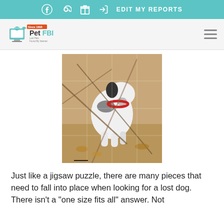EDIT MY REPORTS
[Figure (logo): Pet FBI logo - Lost Pets Found By Internet, Since 1998]
[Figure (photo): A black and white dog with a red collar standing among branches and leaves outdoors, appearing as a jigsaw puzzle image]
Just like a jigsaw puzzle, there are many pieces that need to fall into place when looking for a lost dog. There isn't a "one size fits all" answer. Not